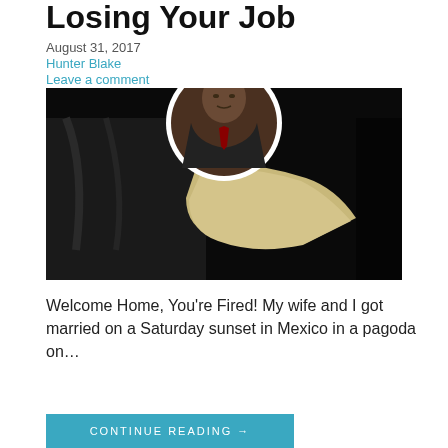Losing Your Job
August 31, 2017
Hunter Blake
Leave a comment
[Figure (photo): A composite image with a circular portrait photo of a middle-aged bald man in a dark suit with red tie, overlaid on a dark background photo showing a document/paper being held or flying in darkness.]
Welcome Home, You're Fired! My wife and I got married on a Saturday sunset in Mexico in a pagoda on…
CONTINUE READING →